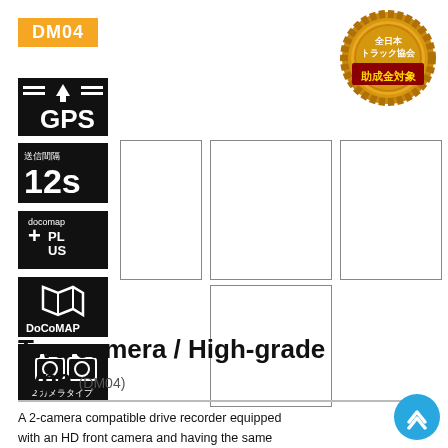DM04
[Figure (logo): Gold badge with Japanese text: 全日本トラック協会 助成金対象]
[Figure (illustration): GPS icon - black rectangle with GPS text and signal bars]
[Figure (illustration): 12s transmission interval icon]
[Figure (illustration): docomap PLUS icon]
[Figure (illustration): DoCoMAP icon]
[Figure (illustration): 2カメラタイプ (2-camera type) icon]
[Figure (illustration): ADAS icon]
[Figure (illustration): Four camera image placeholder boxes in a row]
[Figure (illustration): One camera image placeholder box below]
Two camera / High-grade type (DM04)
A 2-camera compatible drive recorder equipped with an HD front camera and having the same